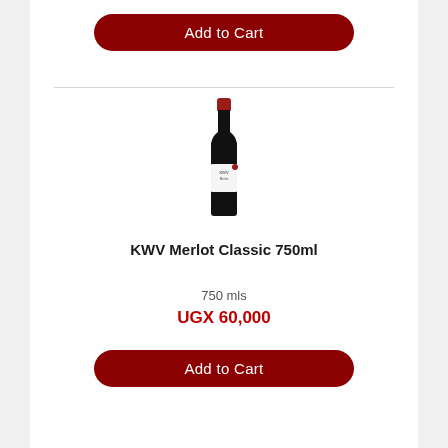[Figure (other): Red 'Add to Cart' button at top of page]
[Figure (photo): KWV Merlot Classic 750ml wine bottle — dark glass bottle with red foil cap and white label]
KWV Merlot Classic 750ml
750 mls
UGX 60,000
[Figure (other): Red 'Add to Cart' button at bottom of page]